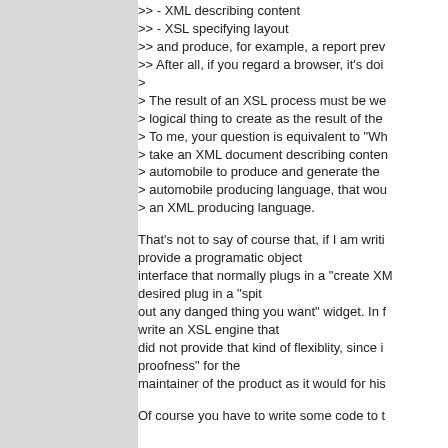>> - XML describing content
>> - XSL specifying layout
>> and produce, for example, a report prev
>> After all, if you regard a browser, it's doi
>
> The result of an XSL process must be we
> logical thing to create as the result of the
> To me, your question is equivalent to "Wh
> take an XML document describing conten
> automobile to produce and generate the
> automobile producing language, that wou
> an XML producing language.

That's not to say of course that, if I am writi
provide a programatic object
interface that normally plugs in a "create XM
desired plug in a "spit
out any danged thing you want" widget. In f
write an XSL engine that
did not provide that kind of flexiblity, since i
proofness" for the
maintainer of the product as it would for his

Of course you have to write some code to t